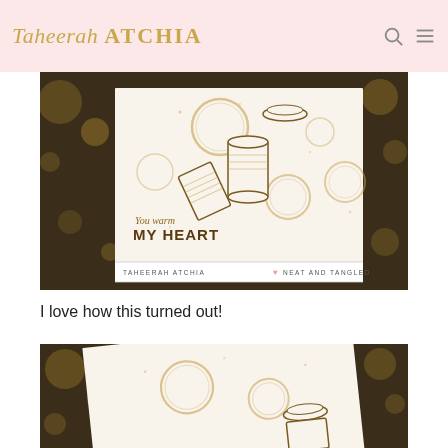Taheerah ATCHIA
[Figure (photo): Handmade greeting card with coffee cup stamps and coffee ring stains on cream background, text reads 'You warm MY HEART', with watermark bar showing TAHEERAH ATCHIA and NEAT AND TANGLED]
I love how this turned out!
[Figure (photo): Closeup/angled view of the same handmade greeting card with coffee ring stamps on cream background]